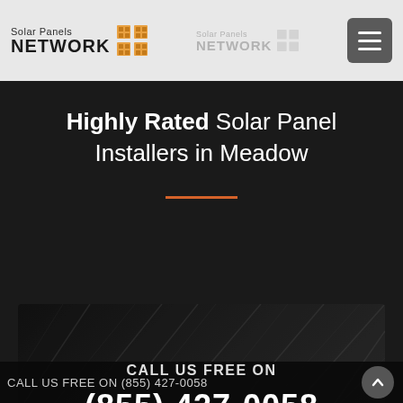Solar Panels NETWORK | Solar Panels NETWORK
Highly Rated Solar Panel Installers in Meadow
CALL US FREE ON
(855) 427-0058
CALL US FREE ON (855) 427-0058